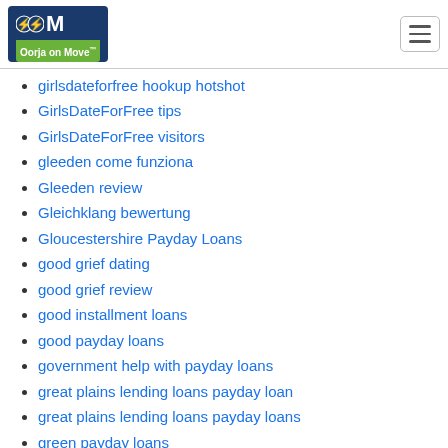Oorja on Move
girlsdateforfree hookup hotshot
GirlsDateForFree tips
GirlsDateForFree visitors
gleeden come funziona
Gleeden review
Gleichklang bewertung
Gloucestershire Payday Loans
good grief dating
good grief review
good installment loans
good payday loans
government help with payday loans
great plains lending loans payday loan
great plains lending loans payday loans
green payday loans
green singles review